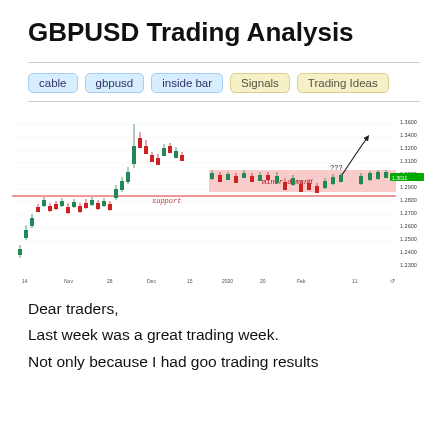GBPUSD Trading Analysis
cable
gbpusd
inside bar
Signals
Trading Ideas
[Figure (continuous-plot): GBPUSD weekly/daily candlestick chart showing price action from Oct/Nov to Feb/Mar. Chart includes a pink 'minor demand' zone around 1.300, a red horizontal 'support' line around 1.285, and an arrow pointing upward labeled '???' suggesting a potential bullish move. Price axis on right ranges from approximately 1.2500 to 1.3600. Time axis shows dates: Oct 14, Nov, 28, Dec, 15, 2020, 20, Feb, 11.]
Dear traders,
Last week was a great trading week.
Not only because I had goo trading results